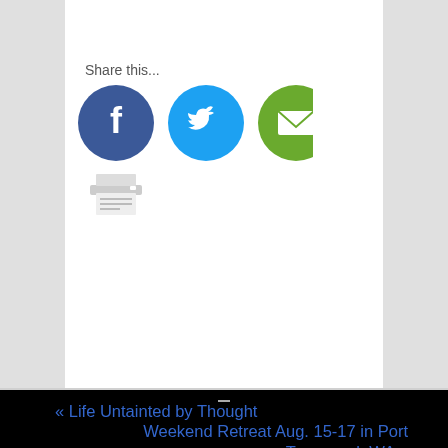Share this...
[Figure (infographic): Social sharing icons: Facebook (dark blue circle with white F), Twitter (light blue circle with white bird), Email (green circle with white envelope), and a printer icon below]
« Life Untainted by Thought
Weekend Retreat Aug. 15-17 in Port Townsend, WA »